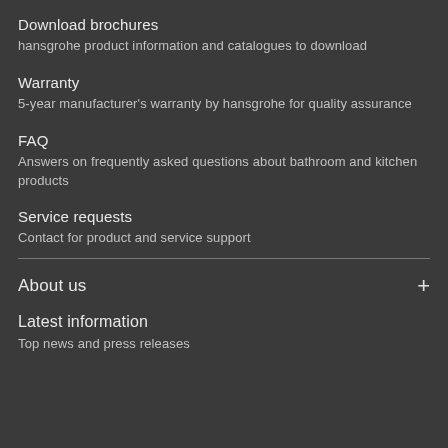Download brochures
hansgrohe product information and catalogues to download
Warranty
5-year manufacturer's warranty by hansgrohe for quality assurance
FAQ
Answers on frequently asked questions about bathroom and kitchen products
Service requests
Contact for product and service support
About us
Latest information
Top news and press releases